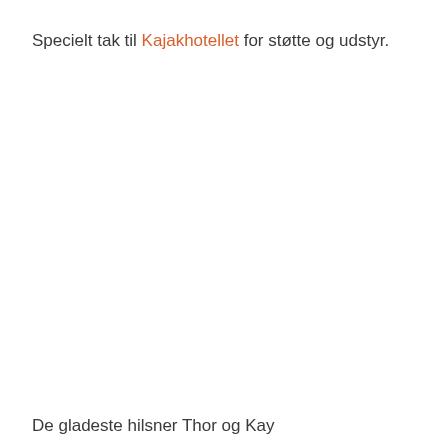Specielt tak til Kajakhotellet for støtte og udstyr.
De gladeste hilsner Thor og Kay